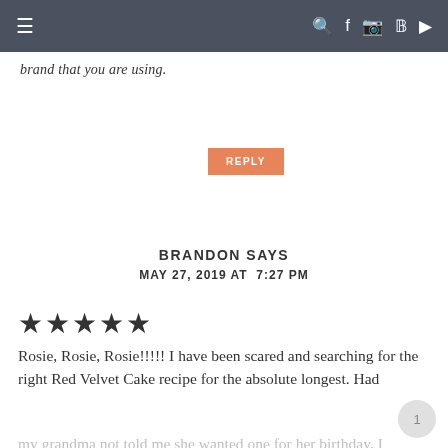≡  🔍 f 📷 𝗽 ▶
brand that you are using.
REPLY
BRANDON SAYS
MAY 27, 2019 AT 7:27 PM
★★★★★
Rosie, Rosie, Rosie!!!!! I have been scared and searching for the right Red Velvet Cake recipe for the absolute longest. Had
my grandma not told me she wanted one for her birthday, I wouldn't have made this.